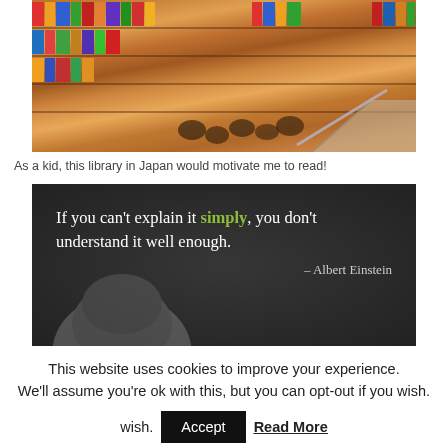[Figure (photo): Aerial/overhead view of a library in Japan with colorful books on warm wooden shelves and children sitting on the floor reading]
As a kid, this library in Japan would motivate me to read!
[Figure (photo): Dark background quote image with text: 'If you can't explain it simply, you don't understand it well enough.' – Albert Einstein, with the word 'simply' highlighted in green, and a partial grayscale photo of Einstein's face at the bottom]
This website uses cookies to improve your experience. We'll assume you're ok with this, but you can opt-out if you wish.
Accept  Read More